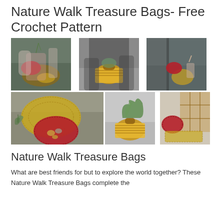Nature Walk Treasure Bags- Free Crochet Pattern
[Figure (photo): Grid of six photos showing crochet treasure bags: top row shows three photos of people sorting nature finds into crocheted bags (red and yellow); bottom row shows close-up of yellow and red crocheted bags with natural items, a wicker basket with plants, and bags displayed against a wooden cabinet.]
Nature Walk Treasure Bags
What are best friends for but to explore the world together? These Nature Walk Treasure Bags complete the